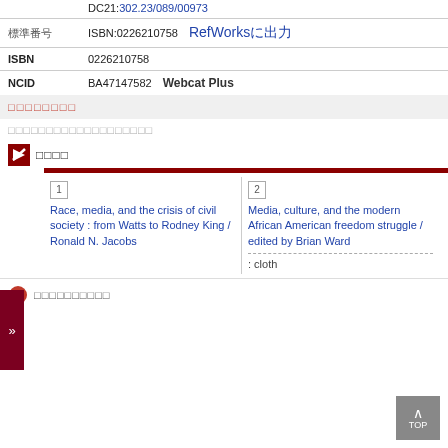LCC: 54.5.A312 DC21:302.23/089/00973
| 標準番号 | ISBN:0226210758  RefWorksに出力 |
| ISBN | 0226210758 |
| NCID | BA47147582  Webcat Plus |
所蔵情報
□□□□□□□□□□□□□□□□□□
類似資料
1 Race, media, and the crisis of civil society : from Watts to Rodney King / Ronald N. Jacobs
2 Media, culture, and the modern African American freedom struggle / edited by Brian Ward : cloth
□□□□□□□□□□